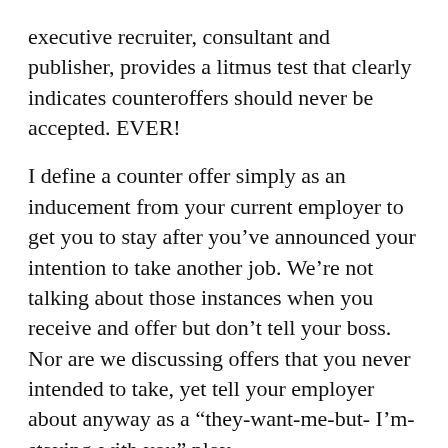executive recruiter, consultant and publisher, provides a litmus test that clearly indicates counteroffers should never be accepted. EVER!
I define a counter offer simply as an inducement from your current employer to get you to stay after you've announced your intention to take another job. We're not talking about those instances when you receive and offer but don't tell your boss. Nor are we discussing offers that you never intended to take, yet tell your employer about anyway as a “they-want-me-but- I’m-staying-with you” ploy.
These are merely astute positioning tactics you may choose to use to reinforce your worth by letting your boss know you have other options. Mention of a true counteroffer, however, carries an actual threat to quit.